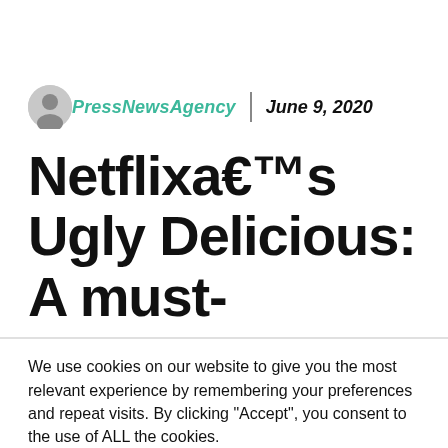PressNewsAgency | June 9, 2020
Netflixaâ€™s Ugly Delicious: A must-
We use cookies on our website to give you the most relevant experience by remembering your preferences and repeat visits. By clicking “Accept”, you consent to the use of ALL the cookies.
Do not sell my personal information.
Cookie Settings | Accept